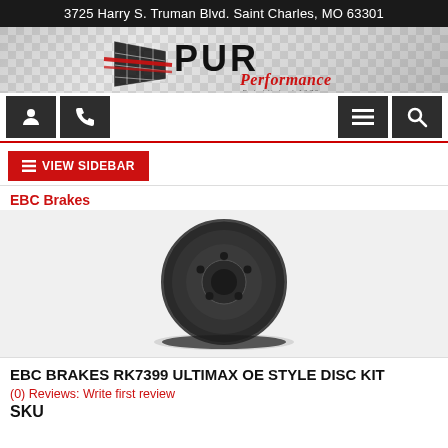3725 Harry S. Truman Blvd. Saint Charles, MO 63301
[Figure (logo): PUR Performance logo with checkered flag graphic, red cursive subtitle, 'Established 1979' text]
[Figure (screenshot): Navigation icon bar with person icon, phone icon, hamburger menu icon, and search icon on dark grey buttons]
≡ VIEW SIDEBAR
EBC Brakes
[Figure (photo): EBC Brakes brake disc rotor product photo, dark/black rotor with 5 bolt holes on white/light grey background]
EBC BRAKES RK7399 ULTIMAX OE STYLE DISC KIT
(0) Reviews: Write first review
SKU